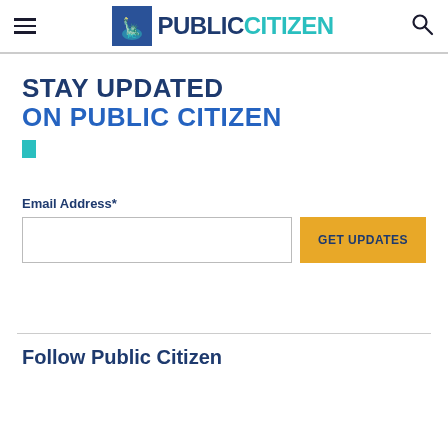Public Citizen
STAY UPDATED
ON PUBLIC CITIZEN
Email Address*
GET UPDATES
Follow Public Citizen